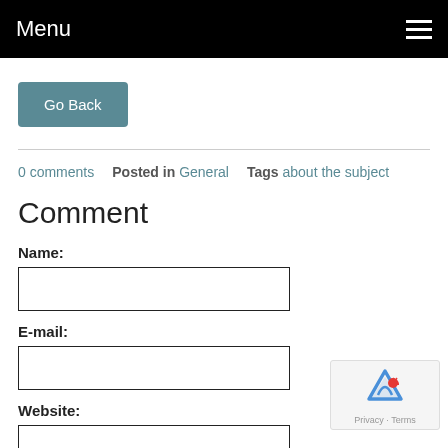Menu
Go Back
0 comments  Posted in General  Tags about the subject
Comment
Name:
E-mail:
Website: